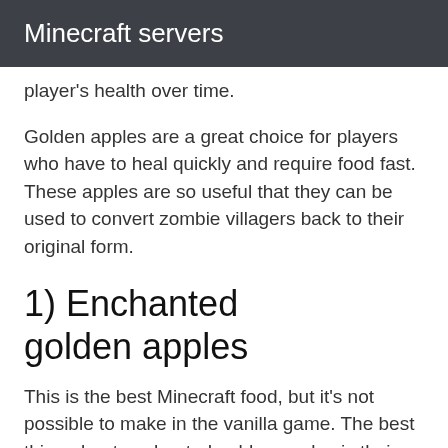Minecraft servers
player's health over time.
Golden apples are a great choice for players who have to heal quickly and require food fast. These apples are so useful that they can be used to convert zombie villagers back to their original form.
1) Enchanted golden apples
This is the best Minecraft food, but it's not possible to make in the vanilla game. The best thing about enchanted golden apples is their